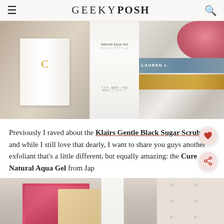GEEKYPOSH
[Figure (photo): Product flatlay photo showing a white candle with gold 'C' logo, a Cure Natural Aqua Gel bottle in the center, and stacked books/objects on a white shelf, with a red/pink fuzzy object visible on the right]
Previously I raved about the Klairs Gentle Black Sugar Scrub, and while I still love that dearly, I want to share you guys another exfoliant that's a little different, but equally amazing: the Cure Natural Aqua Gel from Jap
[Figure (photo): Partial photo showing magazines and a product bottle on a white surface with dotted wallpaper background]